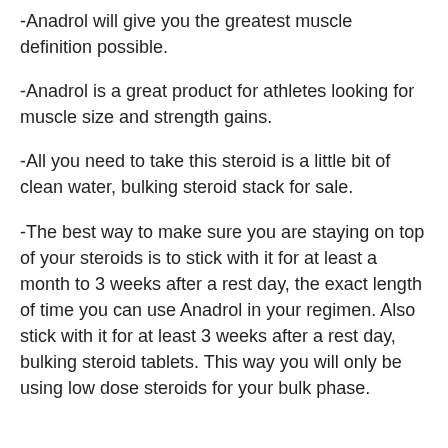-Anadrol will give you the greatest muscle definition possible.
-Anadrol is a great product for athletes looking for muscle size and strength gains.
-All you need to take this steroid is a little bit of clean water, bulking steroid stack for sale.
-The best way to make sure you are staying on top of your steroids is to stick with it for at least a month to 3 weeks after a rest day, the exact length of time you can use Anadrol in your regimen. Also stick with it for at least 3 weeks after a rest day, bulking steroid tablets. This way you will only be using low dose steroids for your bulk phase.